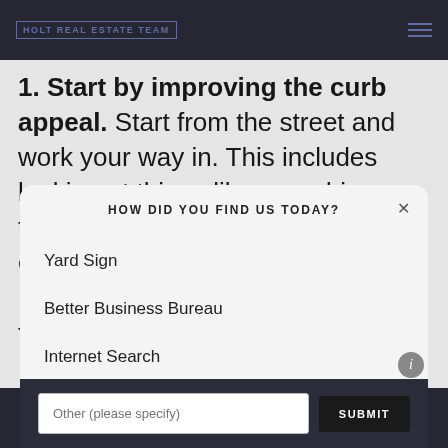HOLT REAL ESTATE TEAM
1. Start by improving the curb appeal. Start from the street and work your way in. This includes looking at things like your driveway, the exterior landscaping, and the exterior of the home in general. Look at the outside of the property from a buyer's
HOW DID YOU FIND US TODAY?
Yard Sign
Better Business Bureau
Internet Search
Other (please specify)
SUBMIT